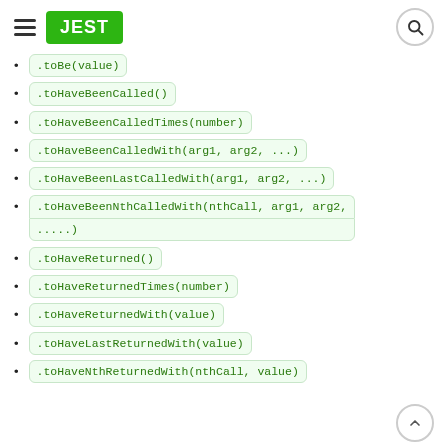JEST
.toBe(value)
.toHaveBeenCalled()
.toHaveBeenCalledTimes(number)
.toHaveBeenCalledWith(arg1, arg2, ...)
.toHaveBeenLastCalledWith(arg1, arg2, ...)
.toHaveBeenNthCalledWith(nthCall, arg1, arg2, ....)
.toHaveReturned()
.toHaveReturnedTimes(number)
.toHaveReturnedWith(value)
.toHaveLastReturnedWith(value)
.toHaveNthReturnedWith(nthCall, value)